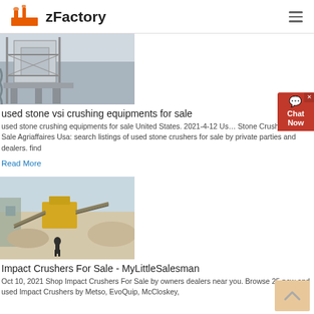zFactory
[Figure (photo): Industrial stone crushing/screening equipment structure with metal framework and elevated platforms]
used stone vsi crushing equipments for sale
used stone crushing equipments for sale United States. 2021-4-12 Used Stone Crushers For Sale Agriaffaires Usa: search listings of used stone crushers for sale by private parties and dealers. find
Read More
[Figure (photo): Outdoor stone crushing facility with yellow equipment, conveyor belts, and a worker standing in front]
Impact Crushers For Sale - MyLittleSalesman
Oct 10, 2021  Shop Impact Crushers For Sale by owners dealers near you. Browse 25 new and used Impact Crushers by Metso, EvoQuip, McCloskey,